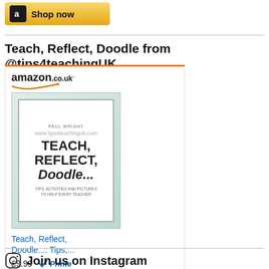[Figure (other): Amazon 'Shop now' button at top of page, golden/yellow gradient background with Amazon 'a' logo icon in dark square]
Teach, Reflect, Doodle from @tips4teachingUK
[Figure (other): Amazon.co.uk product widget showing book 'Teach, Reflect, Doodle...: Tips,...' by Paul Wright with price £9.99 and Prime badge, with Shop now button]
Join us on Instagram